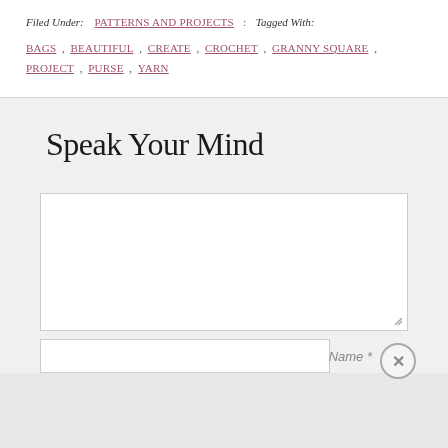Filed Under: PATTERNS AND PROJECTS · Tagged With: BAGS , BEAUTIFUL , CREATE , CROCHET , GRANNY SQUARE , PROJECT , PURSE , YARN
Speak Your Mind
Name *